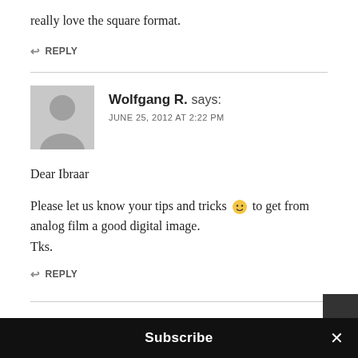really love the square format.
REPLY
Wolfgang R. says:
JUNE 25, 2012 AT 2:22 PM
Dear Ibraar

Please let us know your tips and tricks 🙂 to get from analog film a good digital image.
Tks.
REPLY
Subscribe